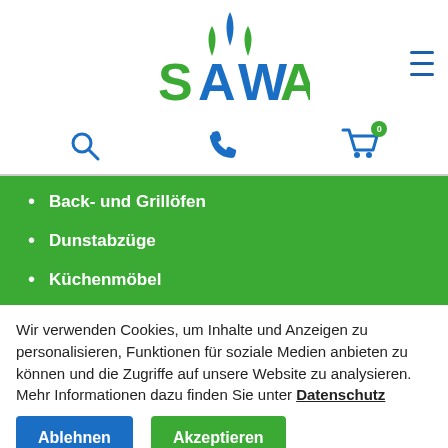[Figure (logo): SAWA logo with blue water drops and green/blue text]
[Figure (infographic): Navigation icons: search (magnifying glass), phone, shopping cart with badge 0]
Back- und Grillöfen
Dunstabzüge
Küchenmöbel
Wir verwenden Cookies, um Inhalte und Anzeigen zu personalisieren, Funktionen für soziale Medien anbieten zu können und die Zugriffe auf unsere Website zu analysieren. Mehr Informationen dazu finden Sie unter Datenschutz